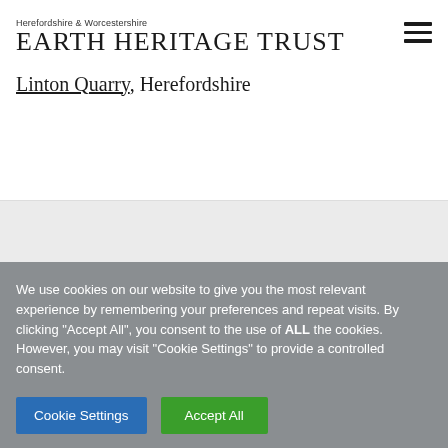Herefordshire & Worcestershire Earth Heritage Trust
Linton Quarry, Herefordshire
We use cookies on our website to give you the most relevant experience by remembering your preferences and repeat visits. By clicking “Accept All”, you consent to the use of ALL the cookies. However, you may visit "Cookie Settings" to provide a controlled consent.